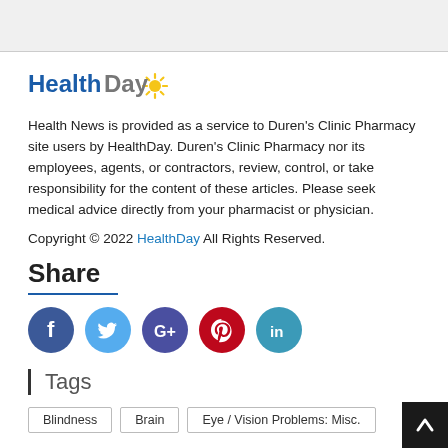[Figure (other): Top stub image placeholder area]
[Figure (logo): HealthDay logo with sun graphic, blue and gray text]
Health News is provided as a service to Duren's Clinic Pharmacy site users by HealthDay. Duren's Clinic Pharmacy nor its employees, agents, or contractors, review, control, or take responsibility for the content of these articles. Please seek medical advice directly from your pharmacist or physician.
Copyright © 2022 HealthDay All Rights Reserved.
Share
[Figure (infographic): Social media share icons: Facebook (blue), Twitter (light blue), Google+ (dark blue/purple), Pinterest (red), LinkedIn (teal)]
Tags
Blindness
Brain
Eye / Vision Problems: Misc.